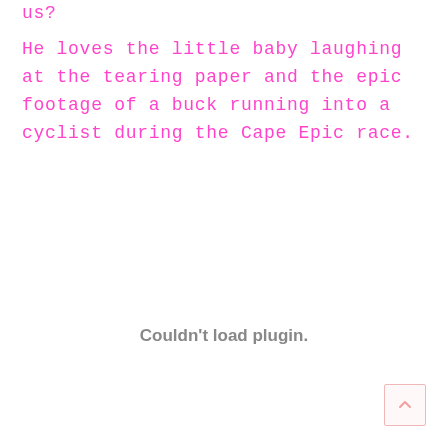us?
He loves the little baby laughing at the tearing paper and the epic footage of a buck running into a cyclist during the Cape Epic race.
Couldn't load plugin.